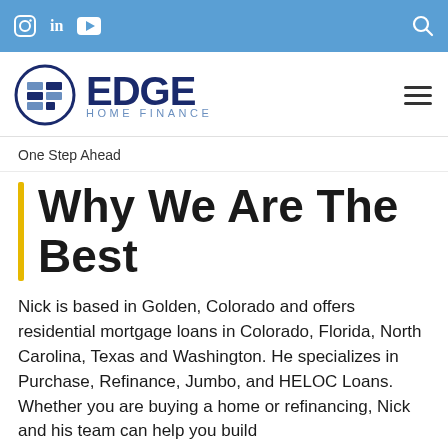Instagram | LinkedIn | YouTube | Search
[Figure (logo): Edge Home Finance logo with circular icon and text]
One Step Ahead
Why We Are The Best
Nick is based in Golden, Colorado and offers residential mortgage loans in Colorado, Florida, North Carolina, Texas and Washington. He specializes in Purchase, Refinance, Jumbo, and HELOC Loans. Whether you are buying a home or refinancing, Nick and his team can help you build